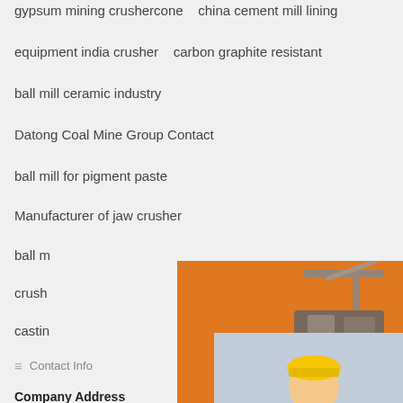gypsum mining crushercone   china cement mill lining
equipment india crusher   carbon graphite resistant
ball mill ceramic industry
Datong Coal Mine Group Contact
ball mill for pigment paste
Manufacturer of jaw crusher
ball m[obscured]
crush[obscured]
castin[obscured]
Contact Info
Company Address
China
HeNan
ZhengZhou
No. 139, High-tech Zone
[Figure (screenshot): Live Chat popup with workers in hard hats, red LIVE CHAT text, 'Click for a Free Consultation', Chat now (red) and Chat later (dark) buttons]
[Figure (screenshot): Orange sidebar ad with mining machinery images, 'Enjoy 3% discount', 'Click to Chat' yellow bar, Enquiry section with email limingjlmofen@sina.com]